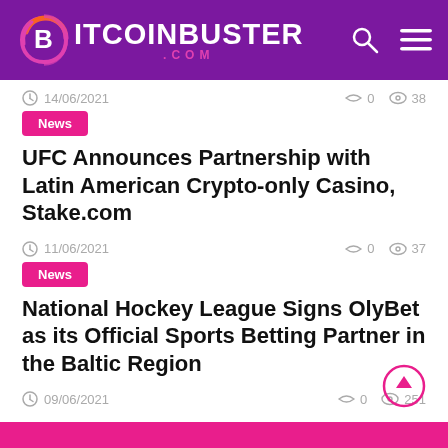BITCOINBUSTER.COM
14/06/2021   0   38
News
UFC Announces Partnership with Latin American Crypto-only Casino, Stake.com
11/06/2021   0   37
News
National Hockey League Signs OlyBet as its Official Sports Betting Partner in the Baltic Region
09/06/2021   0   251